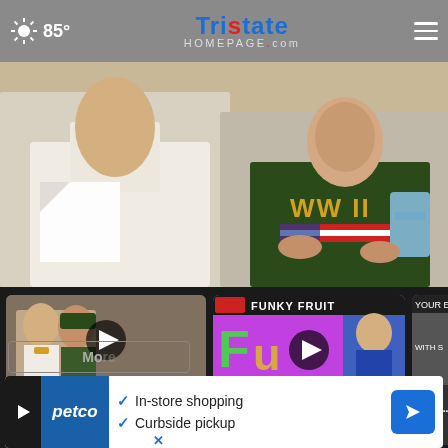85° TRISTATE HOMEPAGE.com
[Figure (photo): Two people, one in white shirt with bow tie and one elderly person in WW II t-shirt holding a glass award trophy]
[Figure (screenshot): News video thumbnail: Baptist Health Deaconess Madisonvil... — 28 mins ago]
[Figure (screenshot): News video thumbnail: Ron's FuNkY FrUiT for Wednesday August 24 — 5 hours ago]
[Figure (screenshot): Partially visible news video thumbnail: Ron's Forec...]
[Figure (photo): Advertisement banner: Petco — In-store shopping, Curbside pickup]